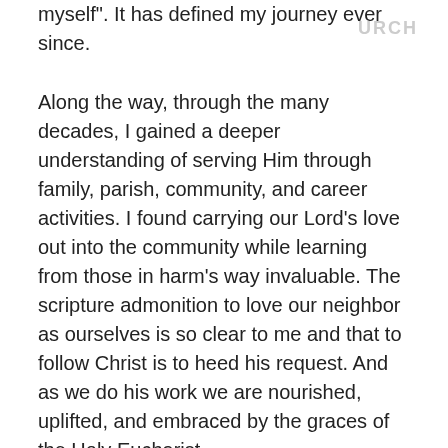myself". It has defined my journey ever since.
Along the way, through the many decades, I gained a deeper understanding of serving Him through family, parish, community, and career activities. I found carrying our Lord's love out into the community while learning from those in harm's way invaluable. The scripture admonition to love our neighbor as ourselves is so clear to me and that to follow Christ is to heed his request. And as we do his work we are nourished, uplifted, and embraced by the graces of the Holy Eucharist.
On this journey, and quite unexpectantly, I accepted a call to become an Episcopal Deacon in the Diocese of Oregon. After a four-year process, I was ordained to